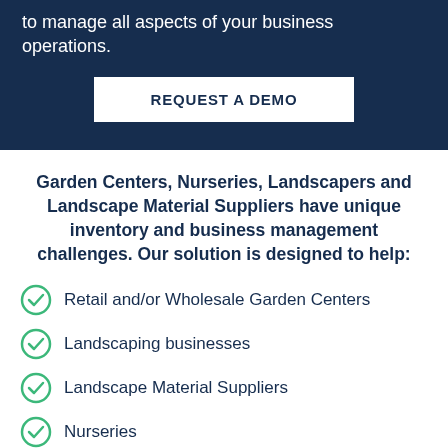to manage all aspects of your business operations.
REQUEST A DEMO
Garden Centers, Nurseries, Landscapers and Landscape Material Suppliers have unique inventory and business management challenges. Our solution is designed to help:
Retail and/or Wholesale Garden Centers
Landscaping businesses
Landscape Material Suppliers
Nurseries